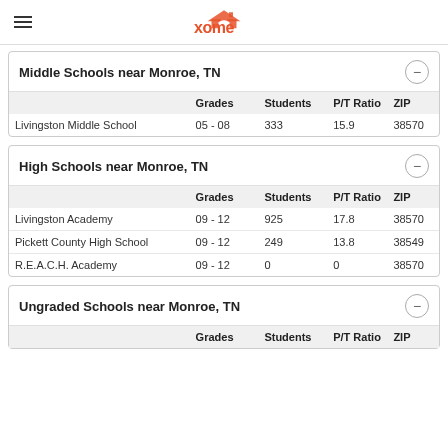xome
Middle Schools near Monroe, TN
|  | Grades | Students | P/T Ratio | ZIP |
| --- | --- | --- | --- | --- |
| Livingston Middle School | 05 - 08 | 333 | 15.9 | 38570 |
High Schools near Monroe, TN
|  | Grades | Students | P/T Ratio | ZIP |
| --- | --- | --- | --- | --- |
| Livingston Academy | 09 - 12 | 925 | 17.8 | 38570 |
| Pickett County High School | 09 - 12 | 249 | 13.8 | 38549 |
| R.E.A.C.H. Academy | 09 - 12 | 0 | 0 | 38570 |
Ungraded Schools near Monroe, TN
|  | Grades | Students | P/T Ratio | ZIP |
| --- | --- | --- | --- | --- |